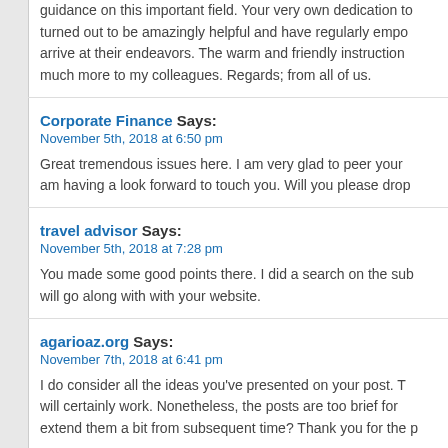guidance on this important field. Your very own dedication to turned out to be amazingly helpful and have regularly empo arrive at their endeavors. The warm and friendly instruction much more to my colleagues. Regards; from all of us.
Corporate Finance Says:
November 5th, 2018 at 6:50 pm

Great tremendous issues here. I am very glad to peer your am having a look forward to touch you. Will you please drop
travel advisor Says:
November 5th, 2018 at 7:28 pm

You made some good points there. I did a search on the sub will go along with with your website.
agarioaz.org Says:
November 7th, 2018 at 6:41 pm

I do consider all the ideas you've presented on your post. T will certainly work. Nonetheless, the posts are too brief for extend them a bit from subsequent time? Thank you for the p
led-lightings-china.com Says: